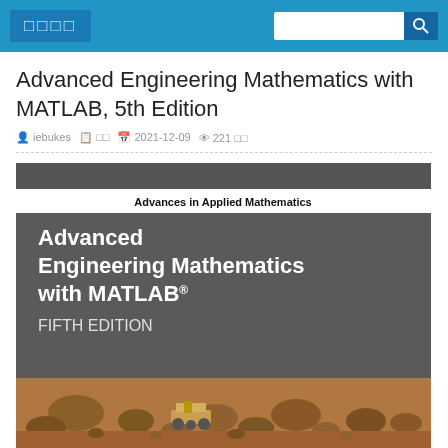□□□□
Advanced Engineering Mathematics with MATLAB, 5th Edition
iebukes  □□  2021-12-09  221 □□
[Figure (photo): Book cover of 'Advanced Engineering Mathematics with MATLAB, Fifth Edition' from the Advances in Applied Mathematics series. Cover shows a Mars rover on rocky terrain with white serif title text on dark gray background.]